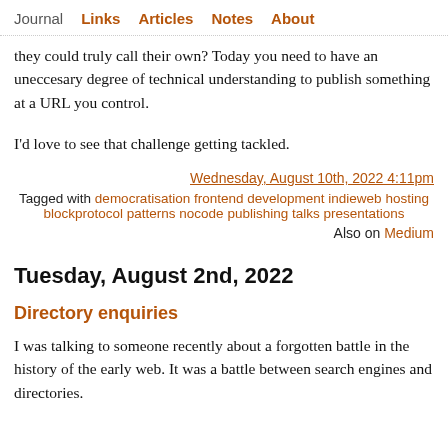Journal  Links  Articles  Notes  About
they could truly call their own? Today you need to have an uneccesary degree of technical understanding to publish something at a URL you control.
I'd love to see that challenge getting tackled.
Wednesday, August 10th, 2022 4:11pm
Tagged with democratisation frontend development indieweb hosting blockprotocol patterns nocode publishing talks presentations
Also on Medium
Tuesday, August 2nd, 2022
Directory enquiries
I was talking to someone recently about a forgotten battle in the history of the early web. It was a battle between search engines and directories.